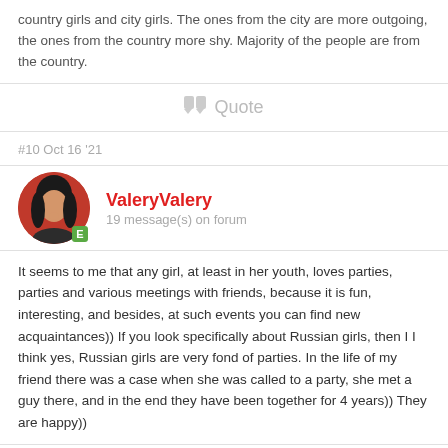country girls and city girls. The ones from the city are more outgoing, the ones from the country more shy. Majority of the people are from the country.
Quote
#10 Oct 16 '21
ValeryValery
19 message(s) on forum
It seems to me that any girl, at least in her youth, loves parties, parties and various meetings with friends, because it is fun, interesting, and besides, at such events you can find new acquaintances)) If you look specifically about Russian girls, then I I think yes, Russian girls are very fond of parties. In the life of my friend there was a case when she was called to a party, she met a guy there, and in the end they have been together for 4 years)) They are happy))
Quote